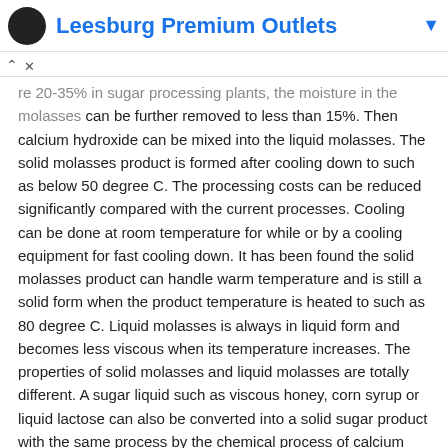[Figure (logo): Leesburg Premium Outlets ad banner with logo circle and blue title text]
molasses is concentrated by a cooker or cooker plus vacuum. If more 20-35% in sugar processing plants, the moisture in the molasses can be further removed to less than 15%. Then calcium hydroxide can be mixed into the liquid molasses. The solid molasses product is formed after cooling down to such as below 50 degree C. The processing costs can be reduced significantly compared with the current processes. Cooling can be done at room temperature for while or by a cooling equipment for fast cooling down. It has been found the solid molasses product can handle warm temperature and is still a solid form when the product temperature is heated to such as 80 degree C. Liquid molasses is always in liquid form and becomes less viscous when its temperature increases. The properties of solid molasses and liquid molasses are totally different. A sugar liquid such as viscous honey, corn syrup or liquid lactose can also be converted into a solid sugar product with the same process by the chemical process of calcium hydroxide in this invention. After the solidifying process for a sugar liquid, the added value may not be so significant as the solid molasses from a liquid molasses except changing the form from liquid into solid. The sale prices of solid sugars are higher than their molasses products.
Some liquid oils may be added into the molasses process. The purposes are to increase the energy level from the oils to meet the nutritional needs and to improve molasses products with better properties such as moisture-